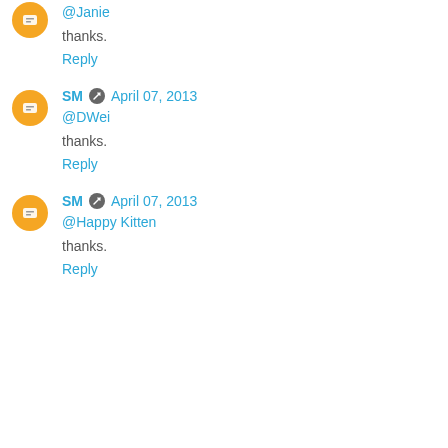@Janie
thanks.
Reply
SM · April 07, 2013
@DWei
thanks.
Reply
SM · April 07, 2013
@Happy Kitten
thanks.
Reply